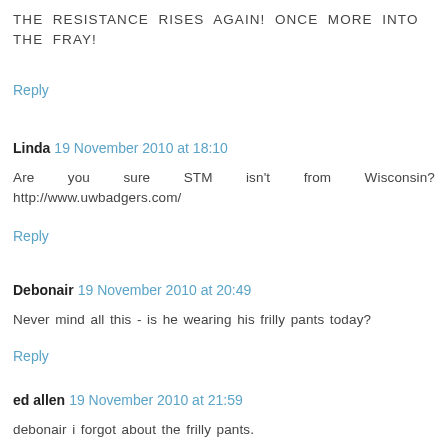THE RESISTANCE RISES AGAIN! ONCE MORE INTO THE FRAY!
Reply
Linda 19 November 2010 at 18:10
Are you sure STM isn't from Wisconsin? http://www.uwbadgers.com/
Reply
Debonair 19 November 2010 at 20:49
Never mind all this - is he wearing his frilly pants today?
Reply
ed allen 19 November 2010 at 21:59
debonair i forgot about the frilly pants.